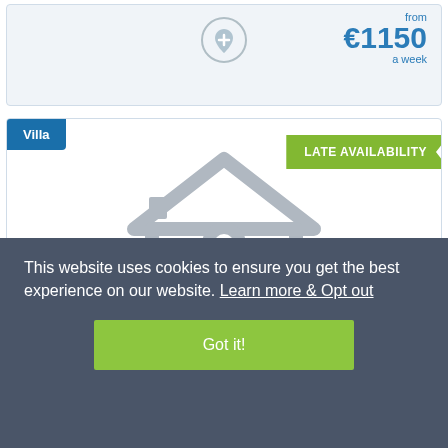from €1150 a week
[Figure (screenshot): Villa property card with placeholder house/location pin icon, 'Villa' badge in blue, 'LATE AVAILABILITY' badge in green]
This website uses cookies to ensure you get the best experience on our website. Learn more & Opt out
Got it!